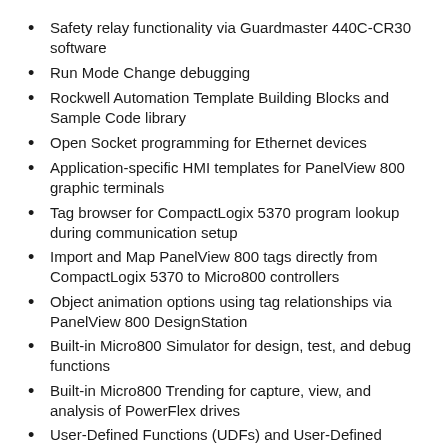Safety relay functionality via Guardmaster 440C-CR30 software
Run Mode Change debugging
Rockwell Automation Template Building Blocks and Sample Code library
Open Socket programming for Ethernet devices
Application-specific HMI templates for PanelView 800 graphic terminals
Tag browser for CompactLogix 5370 program lookup during communication setup
Import and Map PanelView 800 tags directly from CompactLogix 5370 to Micro800 controllers
Object animation options using tag relationships via PanelView 800 DesignStation
Built-in Micro800 Simulator for design, test, and debug functions
Built-in Micro800 Trending for capture, view, and analysis of PowerFlex drives
User-Defined Functions (UDFs) and User-Defined Function Blocks (UDFBs)
Micro800 Series General Selection
Let’s next dive into the hardware side of the Micro800 series PLCs,